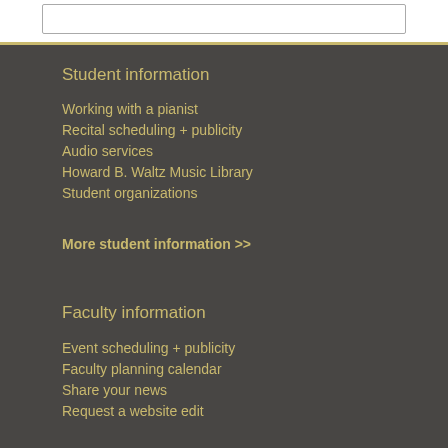Student information
Working with a pianist
Recital scheduling + publicity
Audio services
Howard B. Waltz Music Library
Student organizations
More student information >>
Faculty information
Event scheduling + publicity
Faculty planning calendar
Share your news
Request a website edit